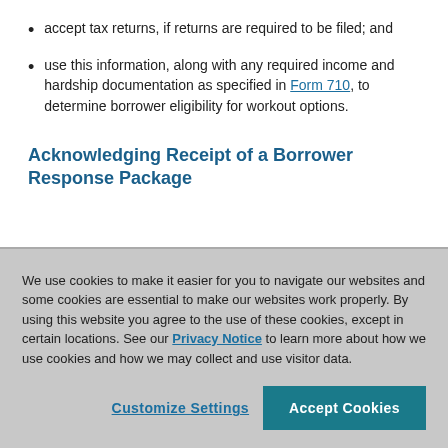accept tax returns, if returns are required to be filed; and
use this information, along with any required income and hardship documentation as specified in Form 710, to determine borrower eligibility for workout options.
Acknowledging Receipt of a Borrower Response Package
We use cookies to make it easier for you to navigate our websites and some cookies are essential to make our websites work properly. By using this website you agree to the use of these cookies, except in certain locations. See our Privacy Notice to learn more about how we use cookies and how we may collect and use visitor data.